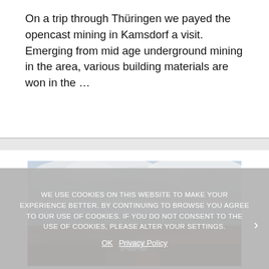On a trip through Thüringen we payed the opencast mining in Kamsdorf a visit. Emerging from mid age underground mining in the area, various building materials are won in the …
[Figure (photo): Landscape photo showing a wide open moorland or heath under a cloudy sky, with a small white camper van or truck visible in the lower center of the image.]
WE USE COOKIES ON THIS WEBSITE TO MAKE YOUR EXPERIENCE BETTER. BY CONTINUING TO BROWSE YOU AGREE TO OUR USE OF COOKIES. IF YOU DO NOT CONSENT TO THE USE OF COOKIES, PLEASE ALTER YOUR SETTINGS.
OK   Privacy Policy